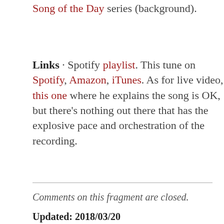Song of the Day series (background).
Links · Spotify playlist. This tune on Spotify, Amazon, iTunes. As for live video, this one where he explains the song is OK, but there's nothing out there that has the explosive pace and orchestration of the recording.
Comments on this fragment are closed.
Updated: 2018/03/20